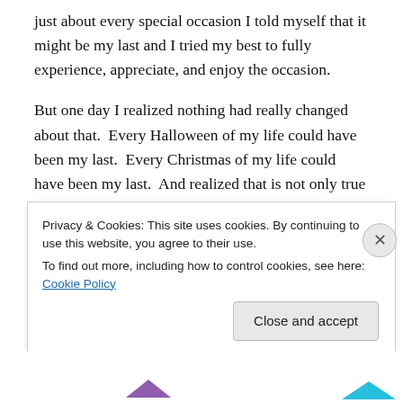just about every special occasion I told myself that it might be my last and I tried my best to fully experience, appreciate, and enjoy the occasion.
But one day I realized nothing had really changed about that.  Every Halloween of my life could have been my last.  Every Christmas of my life could have been my last.  And realized that is not only true for me but true for every one of us.  None of us know which day on this earth will be our last.  Tomorrow is promised to no one.
So the circumstance had not changed at all.  What
Privacy & Cookies: This site uses cookies. By continuing to use this website, you agree to their use.
To find out more, including how to control cookies, see here: Cookie Policy